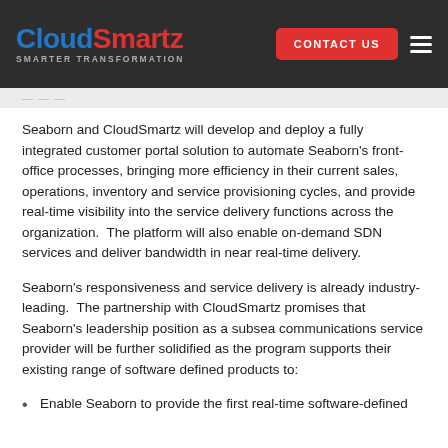CloudSmartz — SMARTER TRANSFORMATION
Seaborn and CloudSmartz will develop and deploy a fully integrated customer portal solution to automate Seaborn's front-office processes, bringing more efficiency in their current sales, operations, inventory and service provisioning cycles, and provide real-time visibility into the service delivery functions across the organization. The platform will also enable on-demand SDN services and deliver bandwidth in near real-time delivery.
Seaborn's responsiveness and service delivery is already industry-leading. The partnership with CloudSmartz promises that Seaborn's leadership position as a subsea communications service provider will be further solidified as the program supports their existing range of software defined products to:
Enable Seaborn to provide the first real-time software-defined